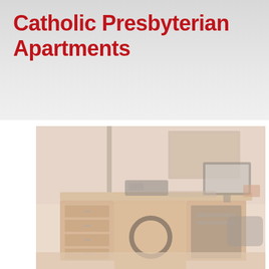Catholic Presbyterian Apartments
[Figure (photo): A faded/washed-out photograph of a home office or study room showing a wooden desk with drawers, a computer monitor, a printer or device on the desk, a picture frame on the wall above, and a circular hole or ring-shaped decorative element in the center of the desk. The image has a very light, washed-out reddish-beige tone.]